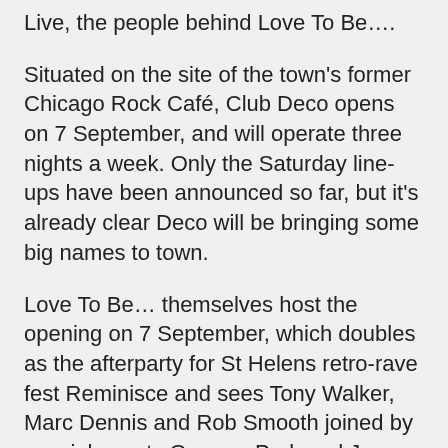Live, the people behind Love To Be….
Situated on the site of the town's former Chicago Rock Café, Club Deco opens on 7 September, and will operate three nights a week. Only the Saturday line-ups have been announced so far, but it's already clear Deco will be bringing some big names to town.
Love To Be… themselves host the opening on 7 September, which doubles as the afterparty for St Helens retro-rave fest Reminisce and sees Tony Walker, Marc Dennis and Rob Smooth joined by special guests Graeme Park and Jon Pleased Wimmin. Muzik are in the house the following week (14 Sept) with Denney, Nikki Chong, L&F Project and Trimtone, Cafe Mambo host on 21 September with Holly Jay and Rob Smooth, 28 September sees a visit from The Shapeshifters, and finally on 5 October there's another Love To Be… night with David Penn plus Tony Walker, Marc